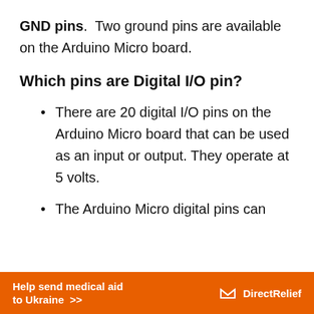GND pins.  Two ground pins are available on the Arduino Micro board.
Which pins are Digital I/O pin?
There are 20 digital I/O pins on the Arduino Micro board that can be used as an input or output. They operate at 5 volts.
The Arduino Micro digital pins can
[Figure (other): Orange banner advertisement: 'Help send medical aid to Ukraine >>' with Direct Relief logo on the right]